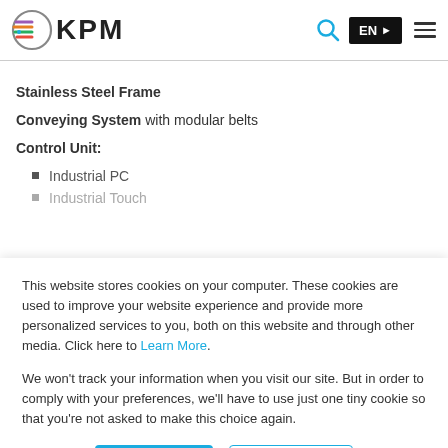[Figure (logo): KPM logo with colorful striped circle icon and KPM text, plus search icon, EN language button, and hamburger menu]
Stainless Steel Frame
Conveying System with modular belts
Control Unit:
Industrial PC
Industrial Touch
This website stores cookies on your computer. These cookies are used to improve your website experience and provide more personalized services to you, both on this website and through other media. Click here to Learn More.
We won't track your information when you visit our site. But in order to comply with your preferences, we'll have to use just one tiny cookie so that you're not asked to make this choice again.